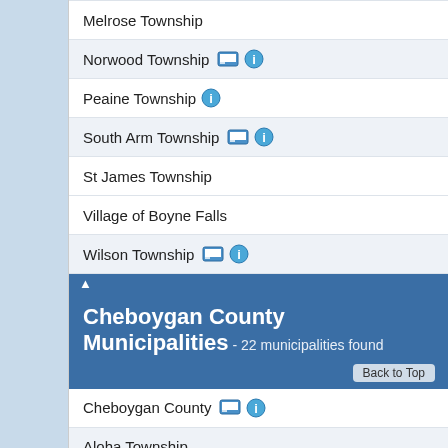Melrose Township
Norwood Township
Peaine Township
South Arm Township
St James Township
Village of Boyne Falls
Wilson Township
Cheboygan County Municipalities - 22 municipalities found
Cheboygan County
Aloha Township
Beaugrand Township
Benton Township
Burt Township
City of Cheboygan
Ellis Township
Forest Township
Grant Township
Hebron Township
Inverness Township
Koehler Township